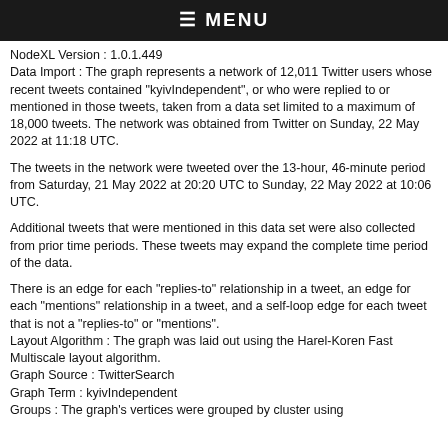≡ MENU
NodeXL Version : 1.0.1.449
Data Import : The graph represents a network of 12,011 Twitter users whose recent tweets contained "kyivIndependent", or who were replied to or mentioned in those tweets, taken from a data set limited to a maximum of 18,000 tweets. The network was obtained from Twitter on Sunday, 22 May 2022 at 11:18 UTC.
The tweets in the network were tweeted over the 13-hour, 46-minute period from Saturday, 21 May 2022 at 20:20 UTC to Sunday, 22 May 2022 at 10:06 UTC.
Additional tweets that were mentioned in this data set were also collected from prior time periods. These tweets may expand the complete time period of the data.
There is an edge for each "replies-to" relationship in a tweet, an edge for each "mentions" relationship in a tweet, and a self-loop edge for each tweet that is not a "replies-to" or "mentions".
Layout Algorithm : The graph was laid out using the Harel-Koren Fast Multiscale layout algorithm.
Graph Source : TwitterSearch
Graph Term : kyivIndependent
Groups : The graph's vertices were grouped by cluster using